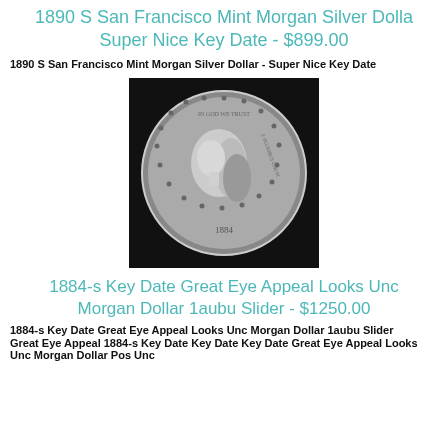1890 S San Francisco Mint Morgan Silver Dollar Super Nice Key Date - $899.00
1890 S San Francisco Mint Morgan Silver Dollar - Super Nice Key Date
[Figure (photo): Photo of a Morgan Silver Dollar coin (obverse) showing Lady Liberty profile on black background]
1884-s Key Date Great Eye Appeal Looks Unc Morgan Dollar 1aubu Slider - $1250.00
1884-s Key Date Great Eye Appeal Looks Unc Morgan Dollar 1aubu Slider
Great Eye Appeal 1884-s Key Date Key Date Great Eye Appeal Looks Unc Morgan Dollar 1aubu Slider